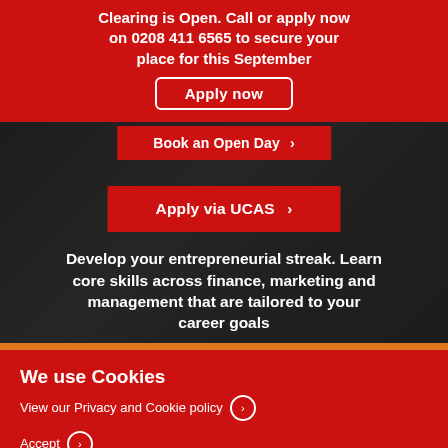Clearing is Open. Call or apply now on 0208 411 6565 to secure your place for this September
Apply now
Book an Open Day
Apply via UCAS
Develop your entrepreneurial streak. Learn core skills across finance, marketing and management that are tailored to your career goals
We use Cookies
View our Privacy and Cookie policy
Accept